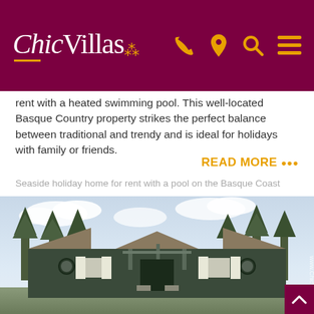ChicVillas
rent with a heated swimming pool. This well-located Basque Country property strikes the perfect balance between traditional and trendy and is ideal for holidays with family or friends.
READ MORE •••
Seaside holiday home for rent with a pool on the Basque Coast
[Figure (photo): Exterior photograph of a single-storey villa with dark green/grey walls, white shutters, a gabled porch roof with exposed wooden beams, circular porthole windows, set against tall pine trees and a partly cloudy sky. Watermark 'www.ChicVillas.fr' visible on right side.]